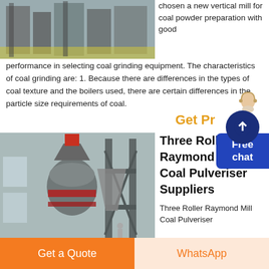[Figure (photo): Industrial vertical mill equipment in a factory setting, showing metal frame structure with yellow safety markings on the floor.]
chosen a new vertical mill for coal powder preparation with good performance in selecting coal grinding equipment. The characteristics of coal grinding are: 1. Because there are differences in the types of coal texture and the boilers used, there are certain differences in the particle size requirements of coal.
Get Pr...
[Figure (photo): Three Roller Raymond Mill coal pulveriser machine in an industrial factory, showing large cylindrical grinding equipment with red and grey components and metal framework.]
Three Roller Raymond Mill Coal Pulveriser Suppliers
Three Roller Raymond Mill Coal Pulveriser